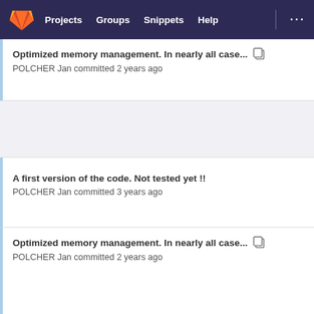Projects  Groups  Snippets  Help
Optimized memory management. In nearly all case...
POLCHER Jan committed 2 years ago
A first version of the code. Not tested yet !!
POLCHER Jan committed 3 years ago
Optimized memory management. In nearly all case...
POLCHER Jan committed 2 years ago